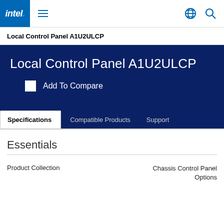Intel navigation bar with logo, hamburger menu, globe icon, and search icon
Local Control Panel A1U2ULCP
Local Control Panel A1U2ULCP
Add To Compare
Specifications | Compatible Products | Support
Essentials
| Product Collection | Chassis Control Panel Options |
| --- | --- |